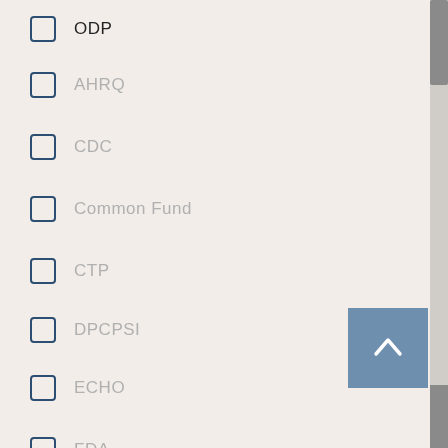ODP
AHRQ
CDC
Common Fund
CTP
DPCPSI
ECHO
FDA
FIC
NASA
Activity Code
Admin Supp
D43